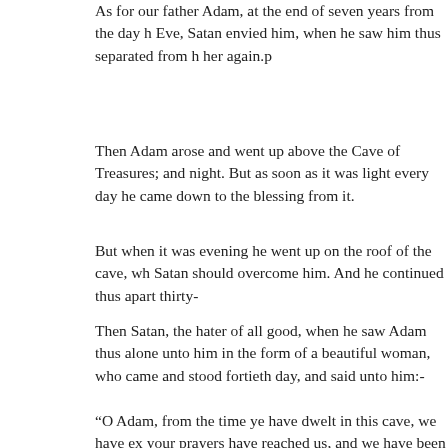As for our father Adam, at the end of seven years from the day he parted from Eve, Satan envied him, when he saw him thus separated from her again.p
Then Adam arose and went up above the Cave of Treasures; and night. But as soon as it was light every day he came down to the blessing from it.
But when it was evening he went up on the roof of the cave, wh Satan should overcome him. And he continued thus apart thirty-
Then Satan, the hater of all good, when he saw Adam thus alone unto him in the form of a beautiful woman, who came and stood fortieth day, and said unto him:-
“O Adam, from the time ye have dwelt in this cave, we have exp your prayers have reached us, and we have been comforted abor
“But now, O Adam, that thou hast gone up over the roof of the c